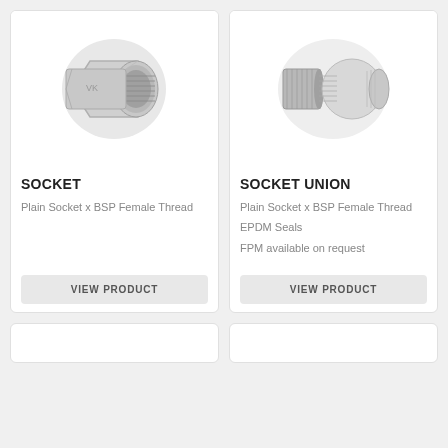[Figure (photo): Grey PVC socket with stainless steel BSP female thread adapter fitting]
SOCKET
Plain Socket x BSP Female Thread
VIEW PRODUCT
[Figure (photo): Grey PVC socket union with chrome/stainless steel collar and plain socket end]
SOCKET UNION
Plain Socket x BSP Female Thread
EPDM Seals
FPM available on request
VIEW PRODUCT